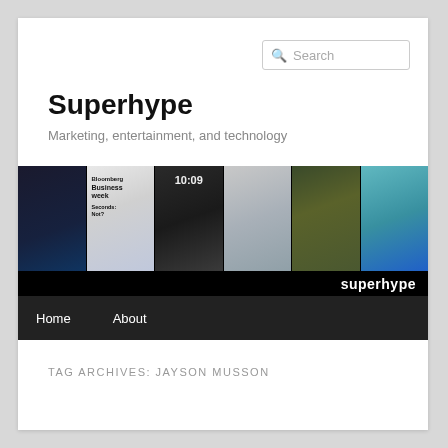[Figure (screenshot): Search bar with magnifying glass icon and placeholder text 'Search']
Superhype
Marketing, entertainment, and technology
[Figure (photo): Website banner strip with six image panels: Beyoncé Lemonade, Bloomberg Businessweek cover, Apple Watch showing 10:09 with Buzz Lightyear, Jeff Bezos portrait, Groot from Guardians of the Galaxy, colorful illustrated character. Bottom black bar reads 'superhype' in white.]
Home   About
TAG ARCHIVES: JAYSON MUSSON